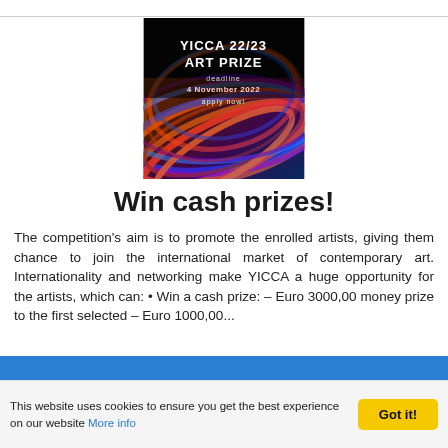[Figure (illustration): YICCA 22/23 ART PRIZE promotional poster with colorful swirling abstract art background (blues, oranges, purples). Text overlay reads: 'YICCA 22/23 ART PRIZE deadline 4 November 2022 apply now!']
Win cash prizes!
The competition's aim is to promote the enrolled artists, giving them chance to join the international market of contemporary art. Internationality and networking make YICCA a huge opportunity for the artists, which can: • Win a cash prize: – Euro 3000,00 money prize to the first selected – Euro 1000,00...
This website uses cookies to ensure you get the best experience on our website More info